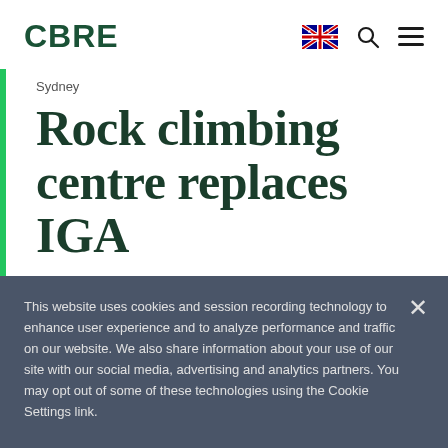CBRE
Sydney
Rock climbing centre replaces IGA
This website uses cookies and session recording technology to enhance user experience and to analyze performance and traffic on our website. We also share information about your use of our site with our social media, advertising and analytics partners. You may opt out of some of these technologies using the Cookie Settings link.